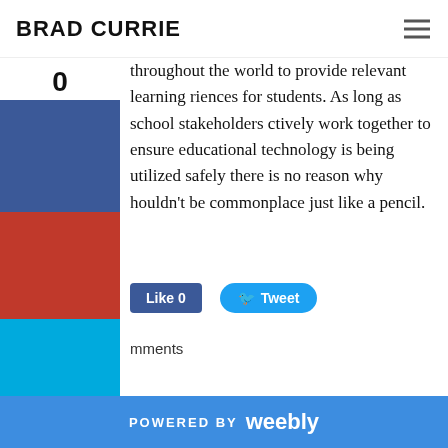BRAD CURRIE
throughout the world to provide relevant learning riences for students. As long as school stakeholders ctively work together to ensure educational technology is being utilized safely there is no reason why houldn't be commonplace just like a pencil.
0
SHARES
[Figure (screenshot): Social share buttons: Facebook like button showing 'Like 0' and Twitter Tweet button]
mments
POWERED BY weebly